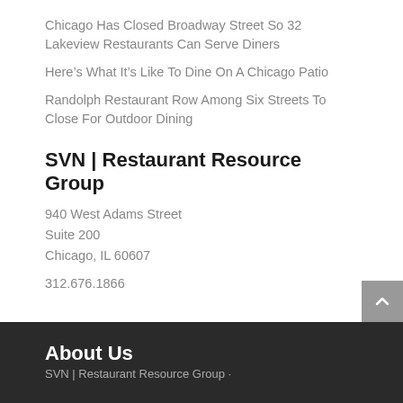Chicago Has Closed Broadway Street So 32 Lakeview Restaurants Can Serve Diners
Here's What It's Like To Dine On A Chicago Patio
Randolph Restaurant Row Among Six Streets To Close For Outdoor Dining
SVN | Restaurant Resource Group
940 West Adams Street
Suite 200
Chicago, IL 60607
312.676.1866
About Us